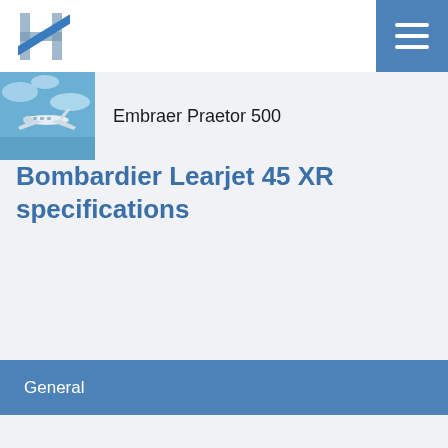[Figure (logo): H logo with blue diagonal stripe]
[Figure (photo): Embraer Praetor 500 aircraft in flight over blue sky]
Embraer Praetor 500
Bombardier Learjet 45 XR specifications
General